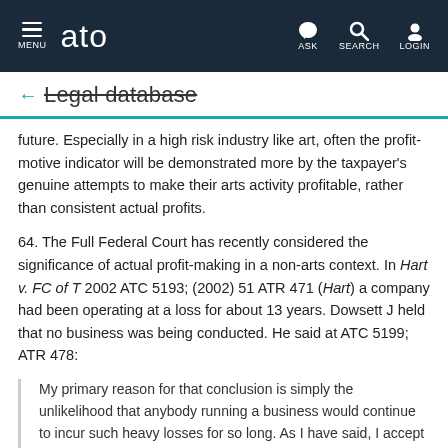ato — MENU / ASK / SEARCH / LOGIN
← Legal database
future. Especially in a high risk industry like art, often the profit-motive indicator will be demonstrated more by the taxpayer's genuine attempts to make their arts activity profitable, rather than consistent actual profits.
64. The Full Federal Court has recently considered the significance of actual profit-making in a non-arts context. In Hart v. FC of T 2002 ATC 5193; (2002) 51 ATR 471 (Hart) a company had been operating at a loss for about 13 years. Dowsett J held that no business was being conducted. He said at ATC 5199; ATR 478:
My primary reason for that conclusion is simply the unlikelihood that anybody running a business would continue to incur such heavy losses for so long. As I have said, I accept the proposition that it may take some time to